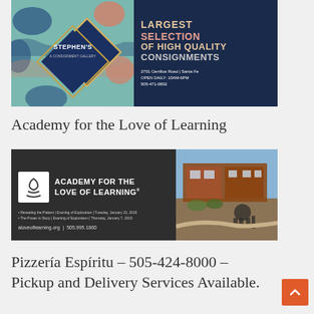[Figure (advertisement): Stephen's A Consignment Gallery ad — left half has decorative pattern background with diamond logo; right half dark navy with text: LARGEST SELECTION OF HIGH QUALITY CONSIGNMENTS, 2701 Cerrillos Road | Santa Fe, OPEN DAILY: 10AM-6PM, 505-471-0802]
Academy for the Love of Learning
[Figure (advertisement): Academy for the Love of Learning ad — dark gray background with logo icon and bold white text ACADEMY FOR THE LOVE OF LEARNING®, event listings, aloveoflearning.org | 505.995.1860; right side has photo of building exterior]
Pizzería Espíritu – 505-424-8000 – Pickup and Delivery Services Available.